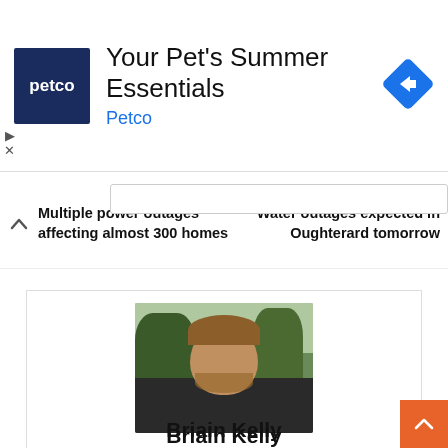[Figure (screenshot): Petco advertisement banner with blue square logo showing 'petco' text, headline 'Your Pet's Summer Essentials', brand name 'Petco' in blue, and a blue diamond arrow icon on the right]
Multiple power outages affecting almost 300 homes
Water outages expected in Oughterard tomorrow
[Figure (photo): Portrait photo of a young man with light brown beard and glasses, wearing dark jacket, outdoors with trees in background]
Briain Kelly
Email: news@galwaydaily.com